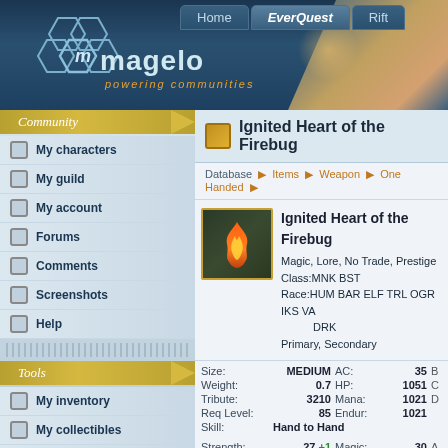[Figure (screenshot): Magelo website banner with hexagon logo, 'magelo powering communities' text, fantasy character on right, navigation tabs: Home, EverQuest, Rift]
Community
My characters
My guild
My account
Forums
Comments
Screenshots
Help
Tools
My inventory
My collectibles
Ranking
Tools for your site
Database
Ignited Heart of the Firebug
Database > Items > Weapon > One Handed >
Ignited Heart of the Firebug
Magic, Lore, No Trade, Prestige
Class:MNK BST
Race:HUM BAR ELF TRL OGR IKS VA DRK
Primary, Secondary
| Stat | Value | Stat | Value |
| --- | --- | --- | --- |
| Size: | MEDIUM | AC: | 35 B |
| Weight: | 0.7 | HP: | 1051 C |
| Tribute: | 3210 | Mana: | 1021 D |
| Req Level: | 85 | Endur: | 1021 |
| Skill: | Hand to Hand |  |  |
| Strength: | 27 +1 | Magic: | 30 A |
| Stamina: | 27 +1 | Fire: | 30 H |